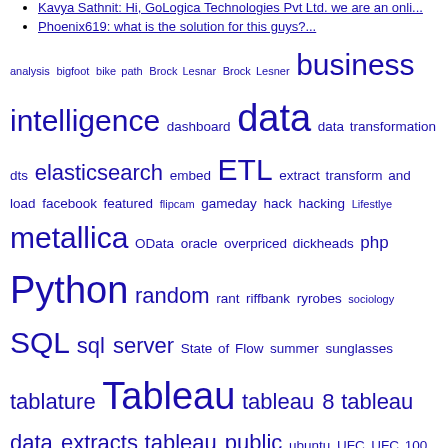Kavya Sathnit: Hi, GoLogica Technologies Pvt Ltd. we are an onli...
Phoenix619: what is the solution for this guys?...
analysis bigfoot bike path Brock Lesnar Brock Lesner business intelligence dashboard data data transformation dts elasticsearch embed ETL extract transform and load facebook featured flipcam gameday hack hacking Lifestlye metallica OData oracle overpriced dickheads php Python random rant riffbank ryrobes sociology SQL sql server State of Flow summer sunglasses tablature Tableau tableau 8 tableau data extracts tableau public ubuntu UFC UFC 100
Sweet Data Visualizations
Visual Analytics – @garyvee WineLibrary Style!
Bigfoot & Aliens, together at last!
More DATA PORN – @garyvee Twitter Stats
Finding Bigfoot (Data) – Visualize the Squatch
MetallicAnalysis (30 Years of Touring, Visualized)